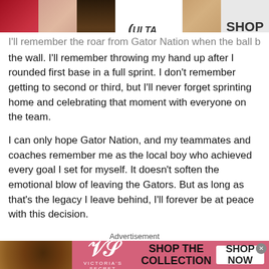[Figure (screenshot): Top advertisement banner for Ulta Beauty showing makeup images (red lips, brush, eye) and Ulta logo with SHOP NOW call to action]
I'll remember the roar from Gator Nation when the ball bounced over the wall. I'll remember throwing my hand up after I rounded first base in a full sprint. I don't remember getting to second or third, but I'll never forget sprinting home and celebrating that moment with everyone on the team.
I can only hope Gator Nation, and my teammates and coaches remember me as the local boy who achieved every goal I set for myself. It doesn't soften the emotional blow of leaving the Gators. But as long as that's the legacy I leave behind, I'll forever be at peace with this decision.
Advertisement
[Figure (screenshot): Bottom advertisement banner for Victoria's Secret showing model photo, VS logo, SHOP THE COLLECTION text, and SHOP NOW button on pink background]